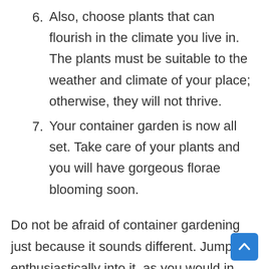6. Also, choose plants that can flourish in the climate you live in. The plants must be suitable to the weather and climate of your place; otherwise, they will not thrive.
7. Your container garden is now all set. Take care of your plants and you will have gorgeous florae blooming soon.
Do not be afraid of container gardening just because it sounds different. Jump enthusiastically into it, as you would in any other form of work. It is absolutely the best way to start gardening. Growing your own vegetables and herbs will bring you satisfaction like no other. In addition, beautiful flowers and trees blooming in your garden will add color and spark to